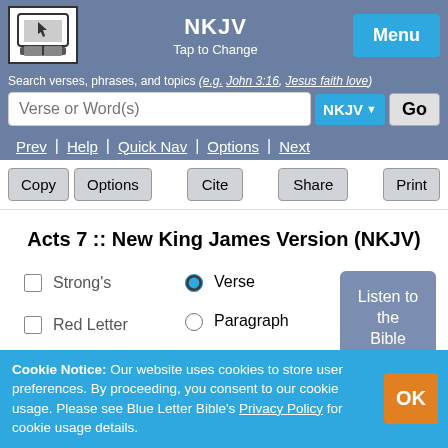NKJV | Tap to Change | Menu
Search verses, phrases, and topics (e.g. John 3:16, Jesus faith love)
Verse or Word(s)  NKJV  Go
Prev | Help | Quick Nav | Options | Next
Copy  Options  Cite  Share  Print
Acts 7 :: New King James Version (NKJV)
Strong's  Verse  Listen to the Bible  Red Letter  Paragraph
Cookie Notice: Our website uses cookies to store user preferences. By proceeding, you consent to our cookie usage. Please see Blue Letter Bible's Privacy Policy for cookie usage details.  OK